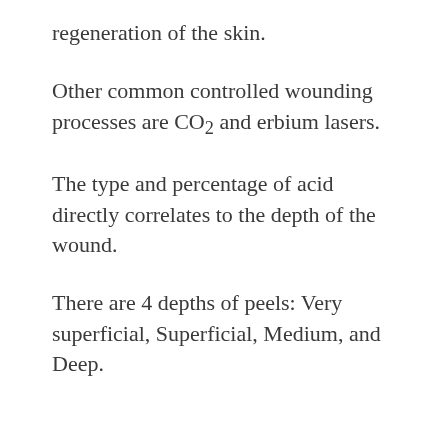regeneration of the skin.
Other common controlled wounding processes are CO2 and erbium lasers.
The type and percentage of acid directly correlates to the depth of the wound.
There are 4 depths of peels: Very superficial, Superficial, Medium, and Deep.